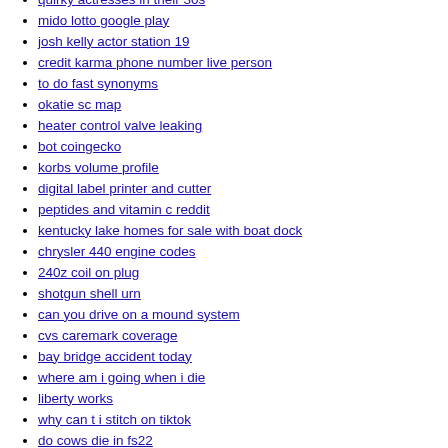quirky actresses in their 30s
mido lotto google play
josh kelly actor station 19
credit karma phone number live person
to do fast synonyms
okatie sc map
heater control valve leaking
bot coingecko
korbs volume profile
digital label printer and cutter
peptides and vitamin c reddit
kentucky lake homes for sale with boat dock
chrysler 440 engine codes
240z coil on plug
shotgun shell urn
can you drive on a mound system
cvs caremark coverage
bay bridge accident today
where am i going when i die
liberty works
why can t i stitch on tiktok
do cows die in fs22
deep house sample pack free
decorative stones in bulk near me
massage school appointments near me